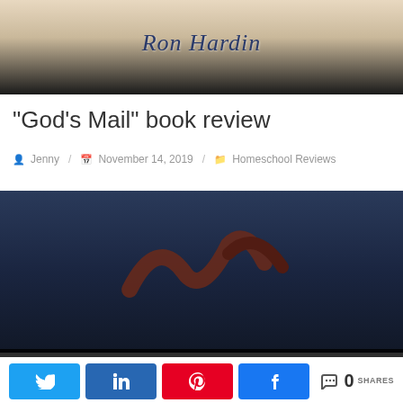[Figure (photo): Top portion of a book cover showing cursive script text 'Ron Hardin' with floral elements and a dark bottom border]
"God's Mail" book review
Jenny / November 14, 2019 / Homeschool Reviews
[Figure (photo): Bottom portion of a book cover with dark navy/dark background and partial cursive script lettering visible]
This website uses cookies to improve your experience. We'll assume you're ok with this, but you can opt-out if you wish.
0 SHARES